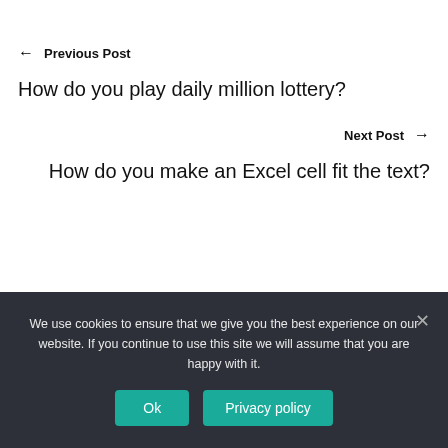← Previous Post
How do you play daily million lottery?
Next Post →
How do you make an Excel cell fit the text?
We use cookies to ensure that we give you the best experience on our website. If you continue to use this site we will assume that you are happy with it.
Ok
Privacy policy